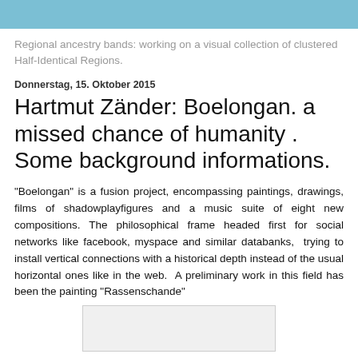Regional ancestry bands: working on a visual collection of clustered Half-Identical Regions.
Donnerstag, 15. Oktober 2015
Hartmut Zänder: Boelongan. a missed chance of humanity . Some background informations.
"Boelongan" is a fusion project, encompassing paintings, drawings, films of shadowplayfigures and a music suite of eight new compositions. The philosophical frame headed first for social networks like facebook, myspace and similar databanks,  trying to install vertical connections with a historical depth instead of the usual horizontal ones like in the web.  A preliminary work in this field has been the painting "Rassenschande"
[Figure (other): Image placeholder / photograph partially visible at bottom of page]